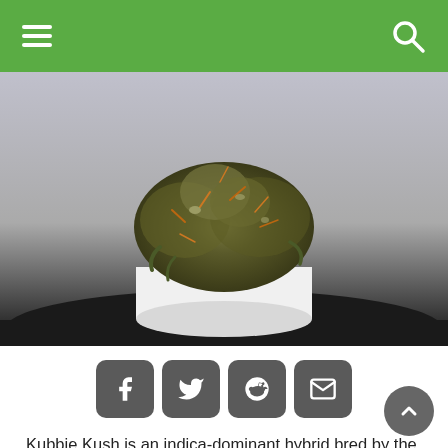Navigation bar with hamburger menu and search icon
[Figure (photo): A cannabis bud (Kubbie Kush) displayed on top of a white cylindrical container against a grey and black background]
[Figure (infographic): Social sharing buttons: Facebook, Twitter, Reddit, Email]
Kubbie Kush is an indica-dominant hybrid bred by the masters at Cresco Labs. With two potent and widely popular parents, this breed is packed with good traits. It is one of those strains that hit hard and can easily knock you out. It can help with inflammation, headaches,